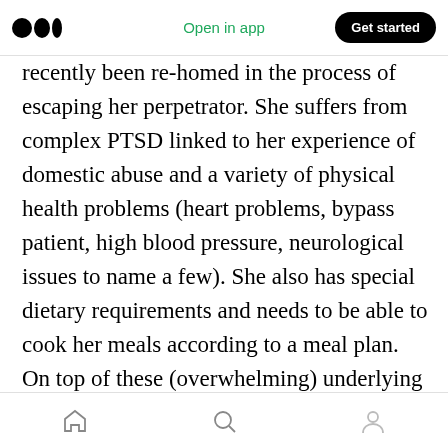Medium logo | Open in app | Get started
recently been re-homed in the process of escaping her perpetrator. She suffers from complex PTSD linked to her experience of domestic abuse and a variety of physical health problems (heart problems, bypass patient, high blood pressure, neurological issues to name a few). She also has special dietary requirements and needs to be able to cook her meals according to a meal plan. On top of these (overwhelming) underlying issues, Anna is confronted with more imminent practical problems. The flat the council provided her with initially had no functioning heating, gas, electricity, or hot water. The new
Home | Search | Profile